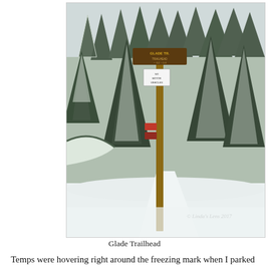[Figure (photo): A winter snow scene at Glade Trailhead showing a tall wooden trail sign post with a brown sign at top reading 'GLADE TR.' and smaller signs below, surrounded by snow-covered evergreen trees and a snow-covered path. Photo watermarked '© Linda's Lens 2017'.]
Glade Trailhead
Temps were hovering right around the freezing mark when I parked my car along Govy's main drag and hoofed it three blocks up a residential street leading to the Glade's trailhead.  Giant snowbanks lining the road were evidence of